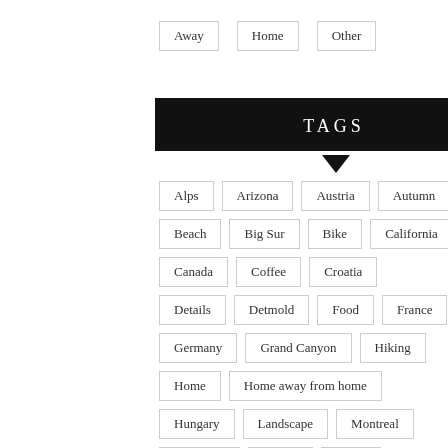Away
Home
Other
TAGS
Alps
Arizona
Austria
Autumn
Beach
Big Sur
Bike
California
Canada
Coffee
Croatia
Details
Detmold
Food
France
Germany
Grand Canyon
Hiking
Home
Home away from home
Hungary
Landscape
Montreal
Mountain
Nature
News